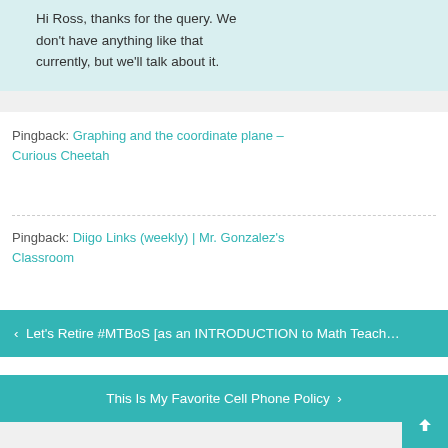Hi Ross, thanks for the query. We don't have anything like that currently, but we'll talk about it.
Pingback: Graphing and the coordinate plane – Curious Cheetah
Pingback: Diigo Links (weekly) | Mr. Gonzalez's Classroom
< Let's Retire #MTBoS [as an INTRODUCTION to Math Teach…
This Is My Favorite Cell Phone Policy >